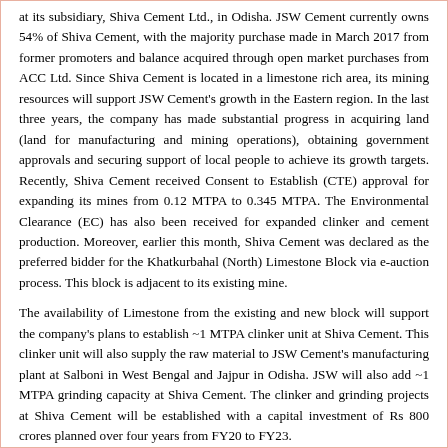at its subsidiary, Shiva Cement Ltd., in Odisha. JSW Cement currently owns 54% of Shiva Cement, with the majority purchase made in March 2017 from former promoters and balance acquired through open market purchases from ACC Ltd. Since Shiva Cement is located in a limestone rich area, its mining resources will support JSW Cement's growth in the Eastern region. In the last three years, the company has made substantial progress in acquiring land (land for manufacturing and mining operations), obtaining government approvals and securing support of local people to achieve its growth targets. Recently, Shiva Cement received Consent to Establish (CTE) approval for expanding its mines from 0.12 MTPA to 0.345 MTPA. The Environmental Clearance (EC) has also been received for expanded clinker and cement production. Moreover, earlier this month, Shiva Cement was declared as the preferred bidder for the Khatkurbahal (North) Limestone Block via e-auction process. This block is adjacent to its existing mine.
The availability of Limestone from the existing and new block will support the company's plans to establish ~1 MTPA clinker unit at Shiva Cement. This clinker unit will also supply the raw material to JSW Cement's manufacturing plant at Salboni in West Bengal and Jajpur in Odisha. JSW will also add ~1 MTPA grinding capacity at Shiva Cement. The clinker and grinding projects at Shiva Cement will be established with a capital investment of Rs 800 crores planned over four years from FY20 to FY23.
In addition to the expansion projects planned at Shiva Cement, JSW Cement will undertake capacity ramp up across South, West and East regions to reach 25 MTPA targeted capacity.
1. In South, the company plans to add 3.6 MTPA capacity to take its